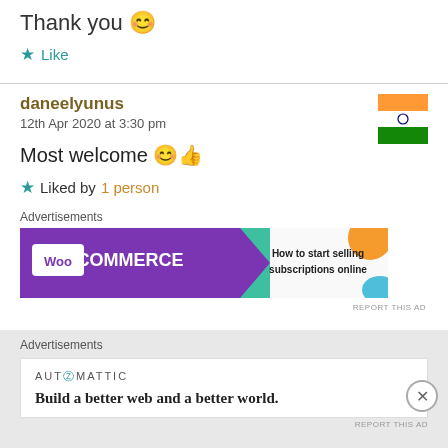Thank you 😊
★ Like
daneelyunus
12th Apr 2020 at 3:30 pm
[Figure (photo): Indian flag avatar thumbnail]
Most welcome 😊👍
★ Liked by 1 person
[Figure (screenshot): WooCommerce advertisement banner: How to start selling subscriptions online]
REPORT THIS AD
Advertisements
[Figure (screenshot): Automattic advertisement: Build a better web and a better world.]
REPORT THIS AD